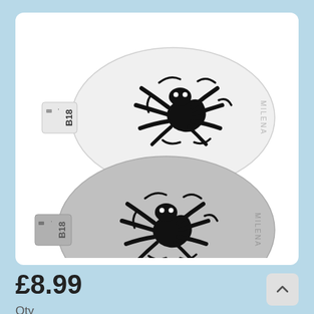[Figure (photo): Two oval stainless steel face painting stencils with a spider design. Both stencils have a small tab handle on the left side with 'B18' text rotated vertically. The word 'MILENA' appears along the right edge. The top stencil is lighter/white while the bottom one is darker/grey. Both feature the same spider stencil cutout design.]
£8.99
Qty